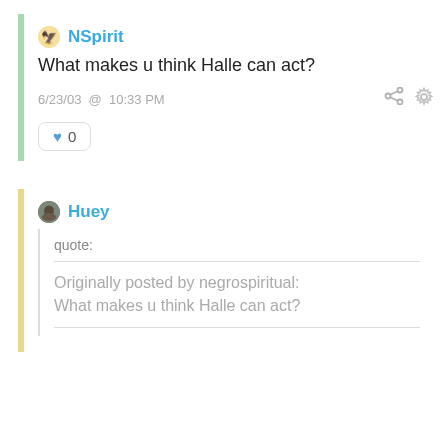NSpirit
What makes u think Halle can act?
6/23/03 @ 10:33 PM
♥ 0
Huey
quote:
Originally posted by negrospiritual:
What makes u think Halle can act?